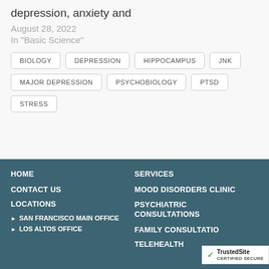depression, anxiety and
August 28, 2022
In "Basic Science"
BIOLOGY
DEPRESSION
HIPPOCAMPUS
JNK
MAJOR DEPRESSION
PSYCHOBIOLOGY
PTSD
STRESS
HOME
SERVICES
CONTACT US
MOOD DISORDERS CLINIC
LOCATIONS
PSYCHIATRIC CONSULTATIONS
SAN FRANCISCO MAIN OFFICE
FAMILY CONSULTATIONS
LOS ALTOS OFFICE
TELEHEALTH